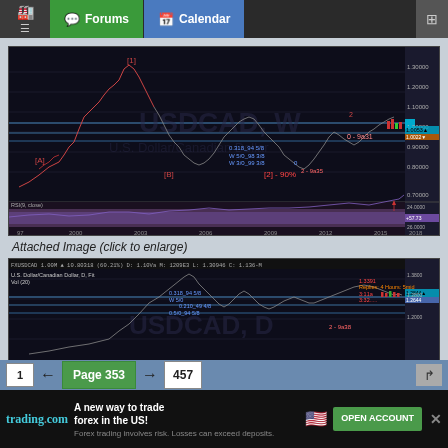Forums | Calendar
[Figure (continuous-plot): USDCAD Weekly (W) candlestick chart showing Elliott Wave analysis with labels [A], [B], [1], [2]-90%, wave annotations, Fibonacci levels, and an oscillator panel below. Watermark: USDCAD, W / U.S. Dollar/Canadian Dollar. Time range approximately 1997-2018.]
Attached Image (click to enlarge)
[Figure (continuous-plot): USDCAD Daily (D) candlestick chart showing Elliott Wave analysis with Fibonacci retracement levels. Watermark: USDCAD, D. Labels include W 5/0, 0.318, wave annotations in red and blue.]
1 ← Page 353 → 457
trading.com | A new way to trade forex in the US! | OPEN ACCOUNT | Forex trading involves risk. Losses can exceed deposits.